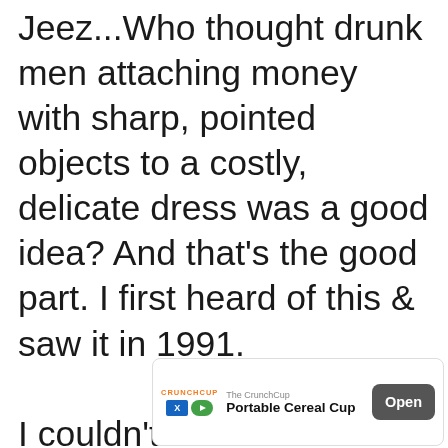Jeez...Who thought drunk men attaching money with sharp, pointed objects to a costly, delicate dress was a good idea? And that's the good part. I first heard of this & saw it in 1991.

I couldn't even comprehend the explanation I was given, and then I saw it. Truly, it's one of the tackiest things I've ever seen. The bric...
[Figure (other): Mobile advertisement banner for 'The CrunchCup - Portable Cereal Cup' with an Open button, shown at the bottom of the page over the article text.]